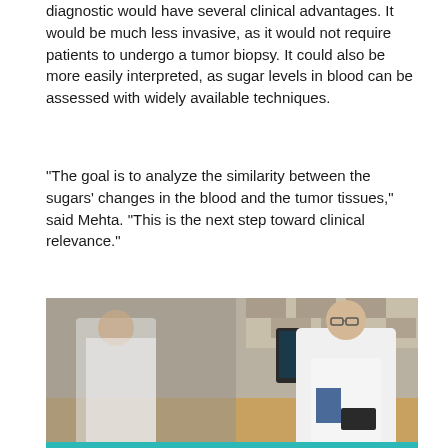diagnostic would have several clinical advantages. It would be much less invasive, as it would not require patients to undergo a tumor biopsy. It could also be more easily interpreted, as sugar levels in blood can be assessed with widely available techniques.
“The goal is to analyze the similarity between the sugars’ changes in the blood and the tumor tissues,” said Mehta. “This is the next step toward clinical relevance.”
[Figure (photo): A man in a white lab coat holding a small device, sitting in a laboratory with computer monitors and lab equipment visible. His reflection can be seen in a glass surface to the left. The background shows decorative tiled wall.]